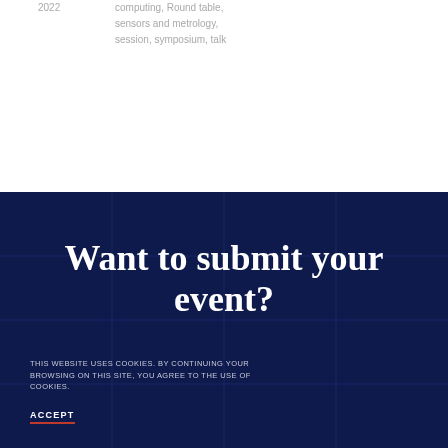2022
computing, Round table, sensors and metrology, session, symposium, talk
Want to submit your event?
THIS WEBSITE USES COOKIES. BY CONTINUING YOUR BROWSING ON THIS SITE, YOU AGREE TO THE USE OF COOKIES.
ACCEPT